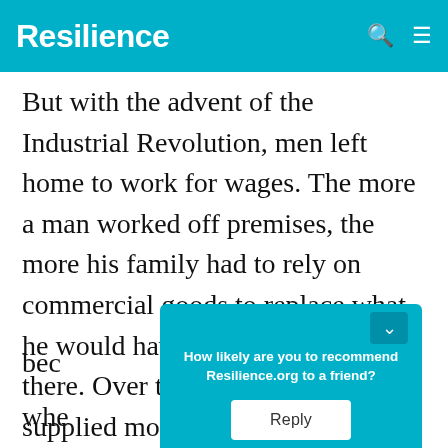Resilience
But with the advent of the Industrial Revolution, men left home to work for wages. The more a man worked off premises, the more his family had to rely on commercial goods to replace what he would have produced, were he there. Over time, industrialization supplied most of the products that, earlier, the household would have made by hand. And domestic... became... wheel...
[Figure (screenshot): Popup survey overlay with cyan/teal background asking 'How likely are you to recommend Resilience.org to a friend?' with a Reply button]